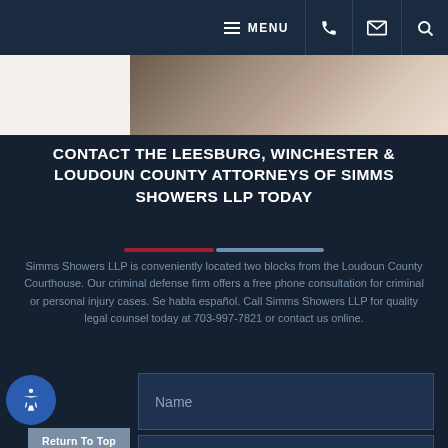MENU (navigation bar with phone, email, search icons)
[Figure (photo): Partial photo of a person, blurred, at top of page]
CONTACT THE LEESBURG, WINCHESTER & LOUDOUN COUNTY ATTORNEYS OF SIMMS SHOWERS LLP TODAY
Simms Showers LLP is conveniently located two blocks from the Loudoun County Courthouse. Our criminal defense firm offers a free phone consultation for criminal or personal injury cases. Se habla español. Call Simms Showers LLP for quality legal counsel today at 703-997-7821 or contact us online.
Name
Phone
Email